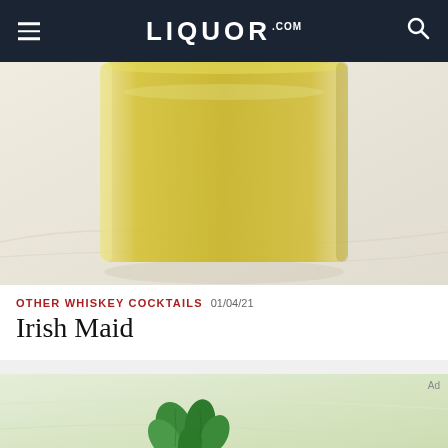LIQUOR.COM
[Figure (photo): Close-up photo of a glass filled with a golden/yellow cocktail on a marble surface]
OTHER WHISKEY COCKTAILS  01/04/21
Irish Maid
[Figure (photo): Partial view of a cocktail with mint leaves on a light surface]
We help people find answers, solve problems and get inspired.
[Figure (logo): Dotdash Meredith logo with D circle and flower icon]